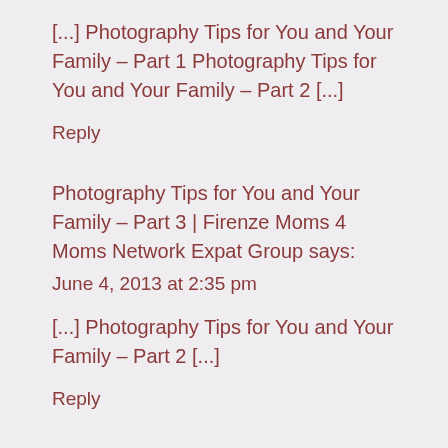[...] Photography Tips for You and Your Family – Part 1 Photography Tips for You and Your Family – Part 2 [...]
Reply
Photography Tips for You and Your Family – Part 3 | Firenze Moms 4 Moms Network Expat Group says:
June 4, 2013 at 2:35 pm
[...] Photography Tips for You and Your Family – Part 2 [...]
Reply